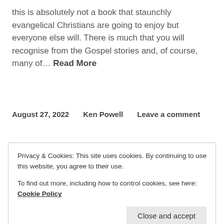this is absolutely not a book that staunchly evangelical Christians are going to enjoy but everyone else will. There is much that you will recognise from the Gospel stories and, of course, many of… Read More
August 27, 2022   Ken Powell   Leave a comment
Book Review: Climate...
Privacy & Cookies: This site uses cookies. By continuing to use this website, you agree to their use.
To find out more, including how to control cookies, see here: Cookie Policy
Close and accept
Jeremy Williams